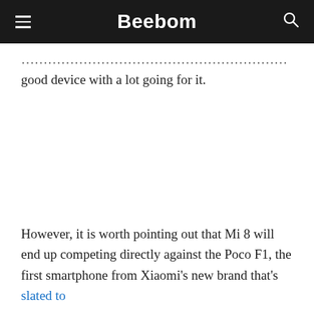Beebom
good device with a lot going for it.
However, it is worth pointing out that Mi 8 will end up competing directly against the Poco F1, the first smartphone from Xiaomi's new brand that's slated to